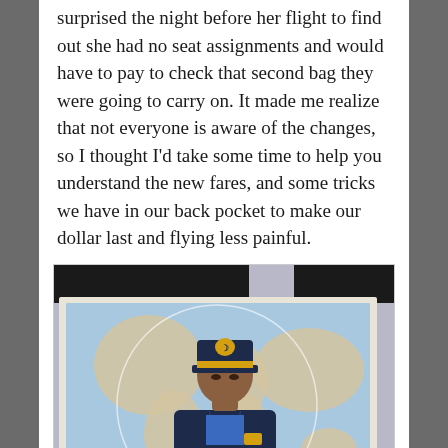surprised the night before her flight to find out she had no seat assignments and would have to pay to check that second bag they were going to carry on. It made me realize that not everyone is aware of the changes, so I thought I'd take some time to help you understand the new fares, and some tricks we have in our back pocket to make our dollar last and flying less painful.
[Figure (photo): A young child dressed in a pilot costume (dark navy jacket with gold stripes, pilot cap with gold emblem) standing in front of a large world map on the wall.]